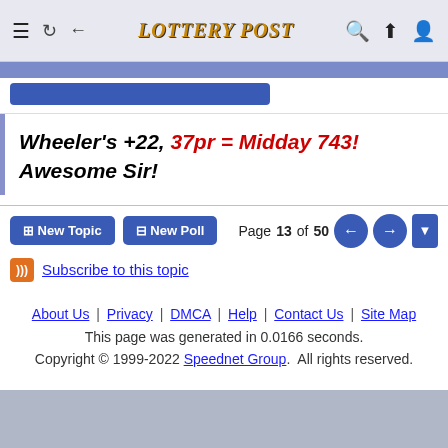Lottery Post
Wheeler's +22, 37pr = Midday 743! Awesome Sir!
Page 13 of 50
Subscribe to this topic
About Us | Privacy | DMCA | Help | Contact Us | Site Map
This page was generated in 0.0166 seconds.
Copyright © 1999-2022 Speednet Group. All rights reserved.